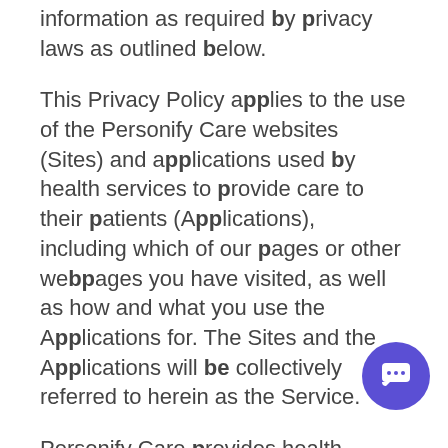information as required by privacy laws as outlined below.
This Privacy Policy applies to the use of the Personify Care websites (Sites) and applications used by health services to provide care to their patients (Applications), including which of our pages or other webpages you have visited, as well as how and what you use the Applications for. The Sites and the Applications will be collectively referred to herein as the Service.
Personify Care provides health services with Applications that allows them to deliver remote care to their patients through digital patient pathways in preparation for their admission or treatment and in support